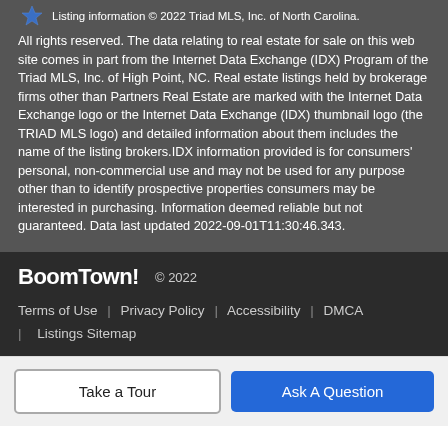Listing information © 2022 Triad MLS, Inc. of North Carolina. All rights reserved. The data relating to real estate for sale on this web site comes in part from the Internet Data Exchange (IDX) Program of the Triad MLS, Inc. of High Point, NC. Real estate listings held by brokerage firms other than Partners Real Estate are marked with the Internet Data Exchange logo or the Internet Data Exchange (IDX) thumbnail logo (the TRIAD MLS logo) and detailed information about them includes the name of the listing brokers.IDX information provided is for consumers' personal, non-commercial use and may not be used for any purpose other than to identify prospective properties consumers may be interested in purchasing. Information deemed reliable but not guaranteed. Data last updated 2022-09-01T11:30:46.343.
BoomTown! © 2022 | Terms of Use | Privacy Policy | Accessibility | DMCA | Listings Sitemap
Take a Tour
Ask A Question